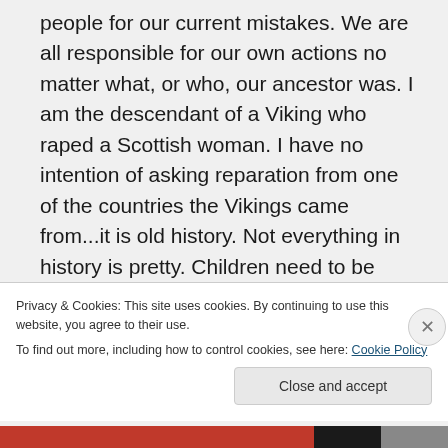people for our current mistakes. We are all responsible for our own actions no matter what, or who, our ancestor was. I am the descendant of a Viking who raped a Scottish woman. I have no intention of asking reparation from one of the countries the Vikings came from...it is old history. Not everything in history is pretty. Children need to be taught HONEST history and Whole history, not fanciful bits that make it seem like a fairy tale. I did “afterschooling”
Privacy & Cookies: This site uses cookies. By continuing to use this website, you agree to their use.
To find out more, including how to control cookies, see here: Cookie Policy
Close and accept